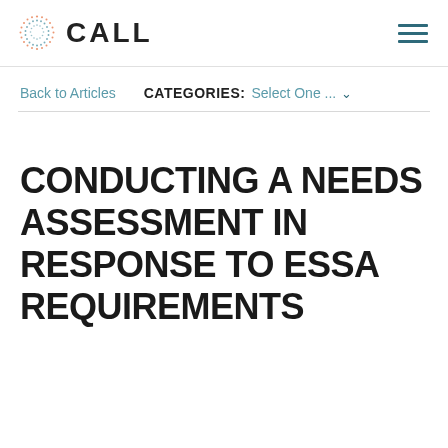[Figure (logo): CALL logo with circular dot pattern icon and text CALL]
Back to Articles
CATEGORIES: Select One ...
CONDUCTING A NEEDS ASSESSMENT IN RESPONSE TO ESSA REQUIREMENTS